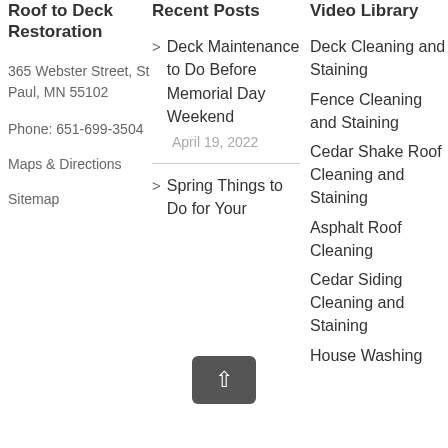Roof to Deck Restoration
365 Webster Street, St Paul, MN 55102
Phone: 651-699-3504
Maps & Directions
Sitemap
Recent Posts
Deck Maintenance to Do Before Memorial Day Weekend
April 19, 2022
Spring Things to Do for Your
Video Library
Deck Cleaning and Staining
Fence Cleaning and Staining
Cedar Shake Roof Cleaning and Staining
Asphalt Roof Cleaning
Cedar Siding Cleaning and Staining
House Washing